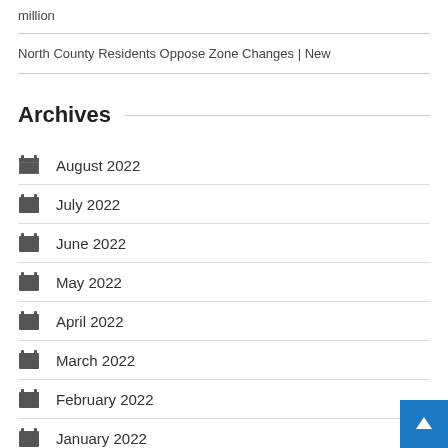million
North County Residents Oppose Zone Changes | New
Archives
August 2022
July 2022
June 2022
May 2022
April 2022
March 2022
February 2022
January 2022